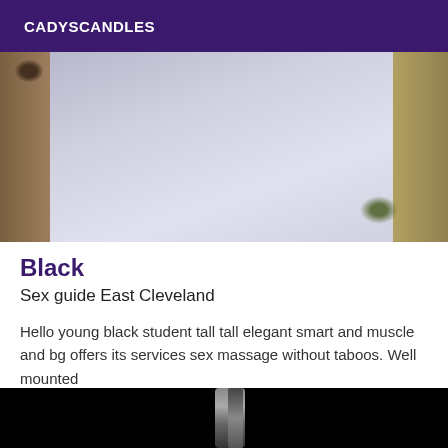CADYSCANDLES
[Figure (photo): Partial photo showing muted background with beige and silvery tones]
Black
Sex guide East Cleveland
Hello young black student tall tall elegant smart and muscle and bg offers its services sex massage without taboos. Well mounted
[Figure (photo): Dark black and white photo with a partial illuminated figure or object against a black background]